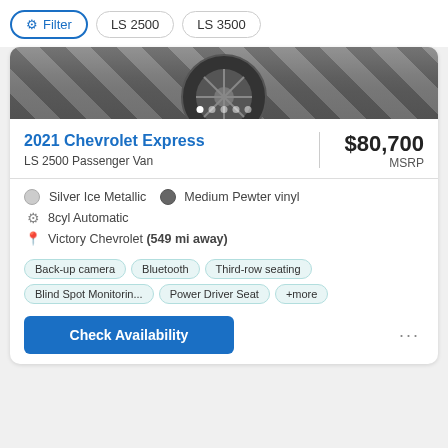Filter | LS 2500 | LS 3500
[Figure (photo): Partial view of a vehicle with checkered floor background, with image carousel dots at bottom]
2021 Chevrolet Express
LS 2500 Passenger Van
$80,700 MSRP
Silver Ice Metallic   Medium Pewter vinyl
8cyl Automatic
Victory Chevrolet (549 mi away)
Back-up camera   Bluetooth   Third-row seating   Blind Spot Monitorin...   Power Driver Seat   +more
Check Availability